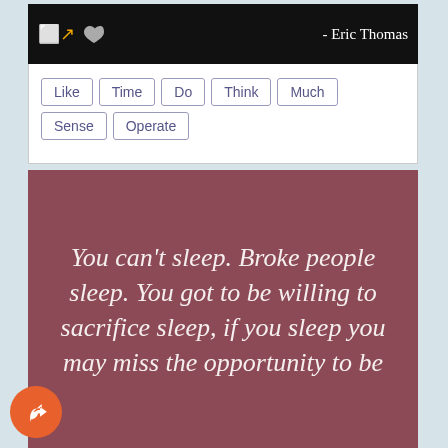- Eric Thomas
Like
Time
Do
Think
Much
Sense
Operate
[Figure (illustration): Quote image with dark rose/mauve background containing italic serif white text of the Eric Thomas quote about sleep and opportunity]
You can't sleep. Broke people sleep. You got to be willing to sacrifice sleep, if you sleep you may miss the opportunity to be successful.